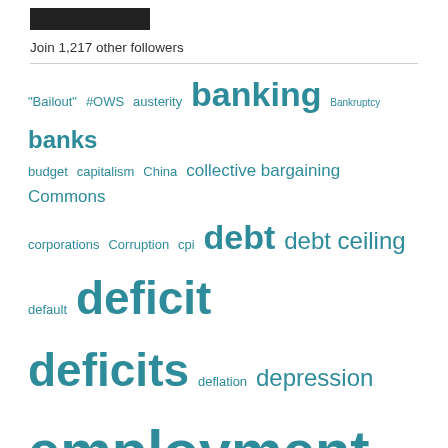[Figure (other): Dark follow button (black rectangle)]
Join 1,217 other followers
[Figure (other): Tag cloud with economics/finance terms in teal/blue color, varying font sizes indicating frequency: banking, banks, deficit, deficits, employment, GDP, government spending, government debt, government debt ceiling, income distribution, inflation, jobs among many others]